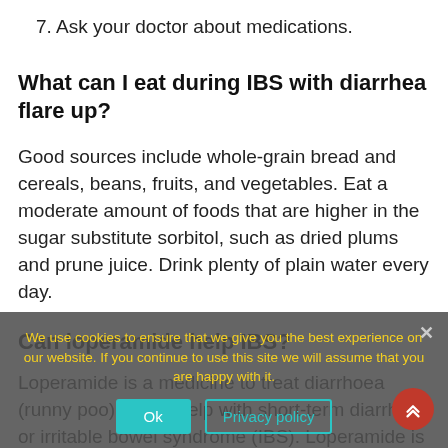7. Ask your doctor about medications.
What can I eat during IBS with diarrhea flare up?
Good sources include whole-grain bread and cereals, beans, fruits, and vegetables. Eat a moderate amount of foods that are higher in the sugar substitute sorbitol, such as dried plums and prune juice. Drink plenty of plain water every day.
Can loperamide help IBS?
Loperamide is a medicine to treat diarrhoea (runny poo). It can help with short-term diarrhoea or irritable bowel syndrome (IBS). Loperamide is also
We use cookies to ensure that we give you the best experience on our website. If you continue to use this site we will assume that you are happy with it.